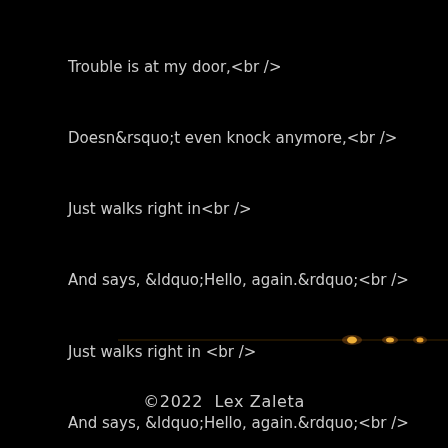Trouble is at my door,<br />
Doesn&rsquo;t even knock anymore,<br />
Just walks right in<br />
And says, &ldquo;Hello, again.&rdquo;<br />
Just walks right in <br />
And says, &ldquo;Hello, again.&rdquo;<br />
<br />
<br />
<br />
<br />
Copyright &copy; 1999 Lex Zaleta<br />
[Figure (illustration): Horizontal decorative line in orange/gold gradient with glowing nodes/dots, spanning the width of the page]
©2022  Lex Zaleta